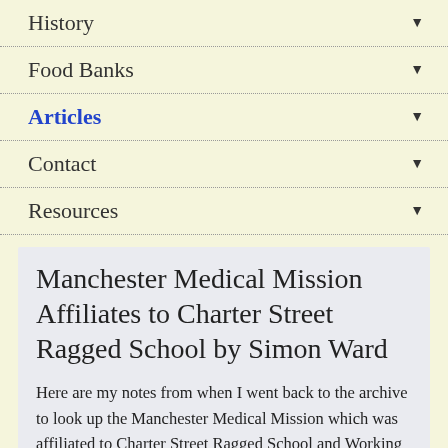History
Food Banks
Articles
Contact
Resources
Manchester Medical Mission Affiliates to Charter Street Ragged School by Simon Ward
Here are my notes from when I went back to the archive to look up the Manchester Medical Mission which was affiliated to Charter Street Ragged School and Working Girls Home. It was situated on Red Bank which is on the opposite side of the